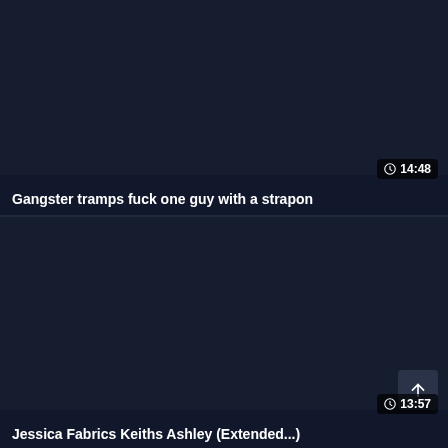[Figure (screenshot): Dark thumbnail placeholder for video card]
14:48
Gangster tramps fuck one guy with a strapon
[Figure (screenshot): Dark thumbnail placeholder for second video card]
13:57
Jessica Fabrics Keiths Ashley (Extended...)